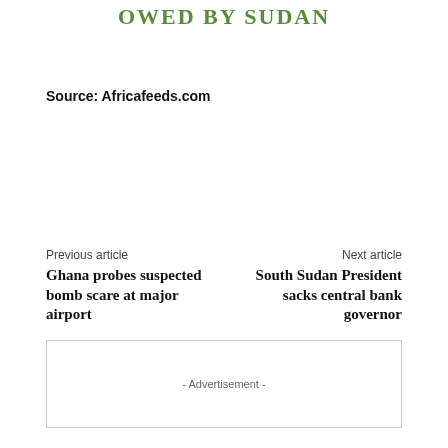OWED BY SUDAN
Source: Africafeeds.com
Previous article
Ghana probes suspected bomb scare at major airport
Next article
South Sudan President sacks central bank governor
- Advertisement -